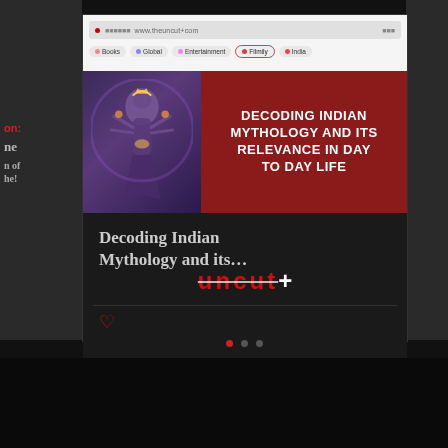[Figure (screenshot): Screenshot of a mobile browser showing the Uncut+ website with an article about Decoding Indian Mythology and its relevance in day to day life. The page shows a browser chrome with navigation tabs (Books, Global, Entertainment, Filmily, India), a hero banner with dark purple mythological imagery on the left and red background with white bold text on the right reading 'DECODING INDIAN MYTHOLOGY AND ITS RELEVANCE IN DAY TO DAY LIFE', followed by an article card with title 'Decoding Indian Mythology and its...' and the Uncut+ logo in red with strikethrough, a heart icon, and pagination dots below.]
DECODING INDIAN MYTHOLOGY AND ITS RELEVANCE IN DAY TO DAY LIFE
Decoding Indian Mythology and its...
uncut+